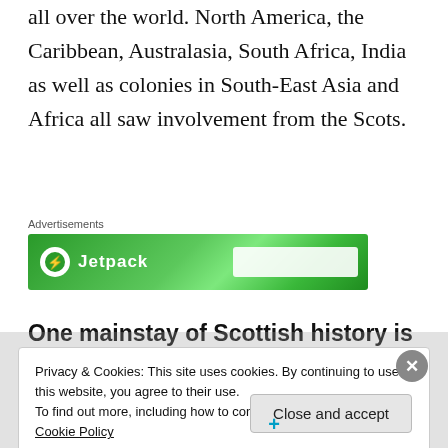as before the people of Scotland were involved all over the world. North America, the Caribbean, Australasia, South Africa, India as well as colonies in South-East Asia and Africa all saw involvement from the Scots.
[Figure (other): Advertisements banner: Jetpack green advertisement banner with logo and input field]
One mainstay of Scottish history is the wealthy elites of Scotland jumping on any
Privacy & Cookies: This site uses cookies. By continuing to use this website, you agree to their use. To find out more, including how to control cookies, see here: Cookie Policy
Close and accept